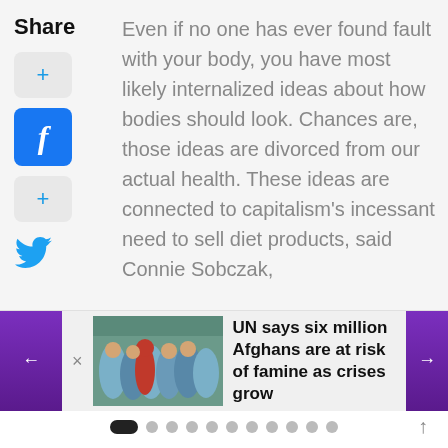Share
Even if no one has ever found fault with your body, you have most likely internalized ideas about how bodies should look. Chances are, those ideas are divorced from our actual health. These ideas are connected to capitalism's incessant need to sell diet products, said Connie Sobczak,
[Figure (screenshot): Navigation card showing article: 'UN says six million Afghans are at risk of famine as crises grow' with thumbnail image of people in blue garments, purple left/right arrow navigation buttons, and close X button]
[Figure (infographic): Pagination dots row: one active pill-shaped dark dot followed by ten gray circle dots, and an up-arrow icon on the right]